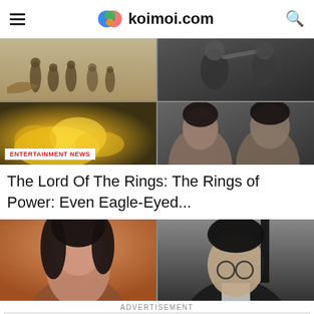koimoi.com
[Figure (photo): Grid of four entertainment news images: top-left shows robed figures in historical setting, top-right shows soldiers with weapons, bottom-left shows yellow/gold explosion or fire, bottom-right shows a close-up of two people. Badge reading ENTERTAINMENT NEWS overlays bottom-left.]
The Lord Of The Rings: The Rings of Power: Even Eagle-Eyed...
[Figure (photo): Two side-by-side celebrity photos: left shows a woman with dark hair against orange background, right shows a man with glasses in dark setting.]
ADVERTISEMENT
Get Up To $110 Off a Set of 4 Select Firestone Tires